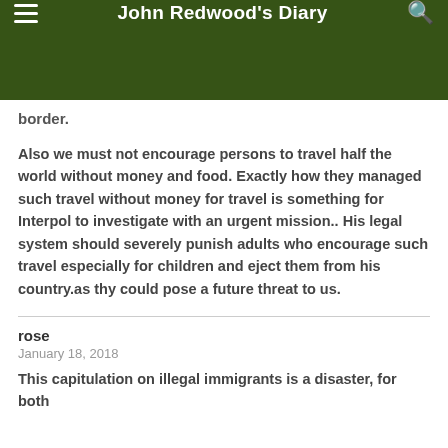John Redwood's Diary
border.
Also we must not encourage persons to travel half the world without money and food. Exactly how they managed such travel without money for travel is something for Interpol to investigate with an urgent mission.. His legal system should severely punish adults who encourage such travel especially for children and eject them from his country.as thy could pose a future threat to us.
rose
January 18, 2018
This capitulation on illegal immigrants is a disaster, for both